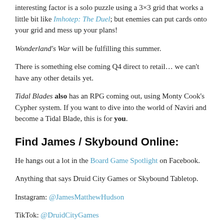interesting factor is a solo puzzle using a 3×3 grid that works a little bit like Imhotep: The Duel; but enemies can put cards onto your grid and mess up your plans!
Wonderland's War will be fulfilling this summer.
There is something else coming Q4 direct to retail… we can't have any other details yet.
Tidal Blades also has an RPG coming out, using Monty Cook's Cypher system. If you want to dive into the world of Naviri and become a Tidal Blade, this is for you.
Find James / Skybound Online:
He hangs out a lot in the Board Game Spotlight on Facebook.
Anything that says Druid City Games or Skybound Tabletop.
Instagram: @JamesMatthewHudson
TikTok: @DruidCityGames